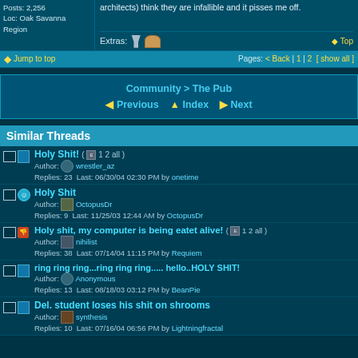Posts: 2,256
Loc: Oak Savanna Region
architects) think they are infallible and it pisses me off.
Extras:
Top
Jump to top   Pages: < Back | 1 | 2 [ show all ]
Community > The Pub
◄ Previous △ Index ► Next
Similar Threads
Holy Shit! ( 1 2 all )
Author: wrestler_az
Replies: 23  Last: 06/30/04 02:30 PM by onetime
Holy Shit
Author: OctopusDr
Replies: 9  Last: 11/25/03 12:44 AM by OctopusDr
Holy shit, my computer is being eatet alive! ( 1 2 all )
Author: nihilist
Replies: 38  Last: 07/14/04 11:15 PM by Requiem
ring ring ring...ring ring ring..... hello..HOLY SHIT!
Author: Anonymous
Replies: 13  Last: 08/18/03 03:12 PM by BeanPie
Del. student loses his shit on shrooms
Author: synthesis
Replies: 10  Last: 07/16/04 06:56 PM by Lightningfractal